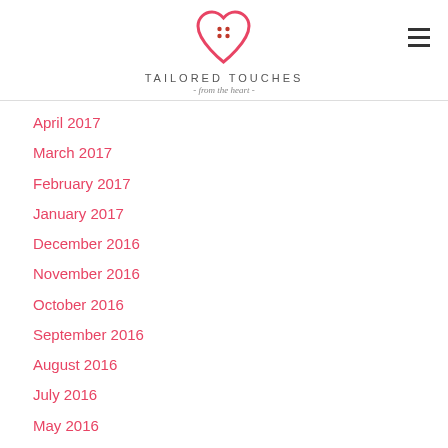[Figure (logo): Tailored Touches from the heart logo — a pink/red heart with button holes and the text TAILORED TOUCHES from the heart below]
April 2017
March 2017
February 2017
January 2017
December 2016
November 2016
October 2016
September 2016
August 2016
July 2016
May 2016
April 2016
March 2016
February 2016
January 2016